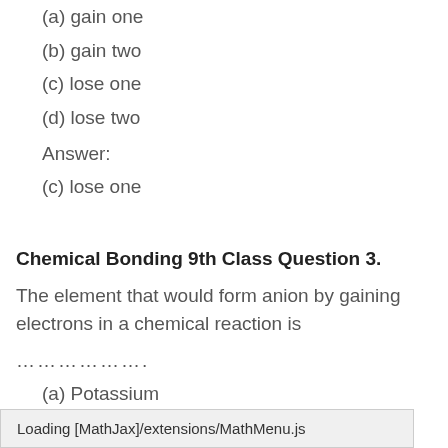(a) gain one
(b) gain two
(c) lose one
(d) lose two
Answer:
(c) lose one
Chemical Bonding 9th Class Question 3.
The element that would form anion by gaining electrons in a chemical reaction is
………………..
(a) Potassium
Loading [MathJax]/extensions/MathMenu.js